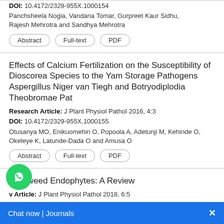DOI: 10.4172/2329-955X.1000154
Panchsheela Nogia, Vandana Tomar, Gurpreet Kaur Sidhu, Rajesh Mehrotra and Sandhya Mehrotra
Abstract | Full-text | PDF
Effects of Calcium Fertilization on the Susceptibility of Dioscorea Species to the Yam Storage Pathogens Aspergillus Niger van Tiegh and Botryodiplodia Theobromae Pat
Research Article: J Plant Physiol Pathol 2016, 4:3
DOI: 10.4172/2329-955X.1000155
Otusanya MO, Enikuomehin O, Popoola A, Adetunji M, Kehinde O, Okeleye K, Latunde-Dada O and Amusa O
Abstract | Full-text | PDF
Locoweed Endophytes: A Review
Review Article: J Plant Physiol Pathol 2018, 6:5
Clement Nzabanita, Hui Liu, Shi Min, Ma Ting-yan and Yan-Zhong Li